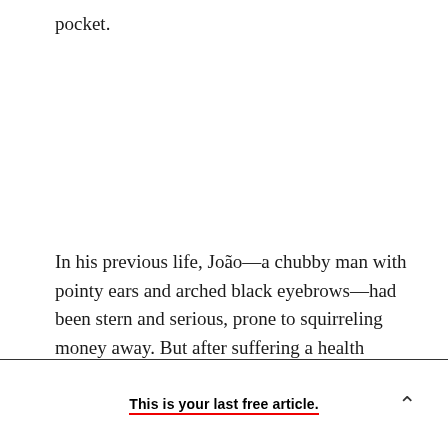pocket.
In his previous life, João—a chubby man with pointy ears and arched black eyebrows—had been stern and serious, prone to squirreling money away. But after suffering a health crisis in 1990, at age 49,
This is your last free article.